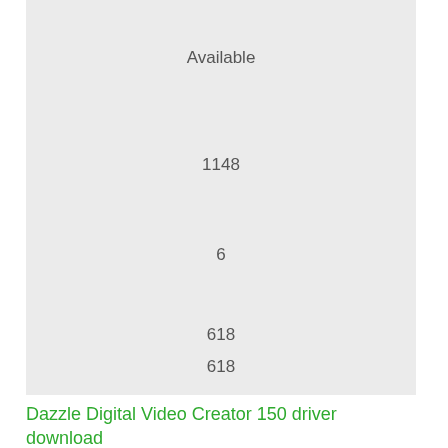Available
1148
6
618
618
Dazzle Digital Video Creator 150 driver download